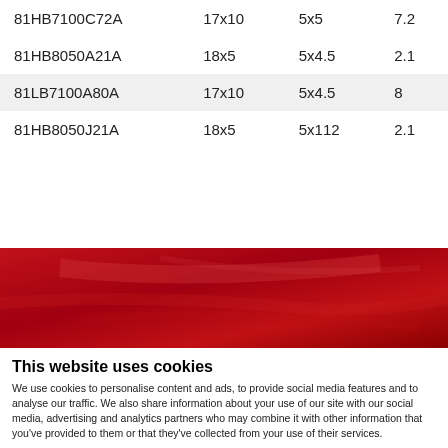| 81HB7100C72A | 17x10 | 5x5 | 7.2 |
| 81HB8050A21A | 18x5 | 5x4.5 | 2.1 |
| 81LB7100A80A | 17x10 | 5x4.5 | 8 |
| 81HB8050J21A | 18x5 | 5x112 | 2.1 |
[Figure (photo): Red textured background banner image]
This website uses cookies
We use cookies to personalise content and ads, to provide social media features and to analyse our traffic. We also share information about your use of our site with our social media, advertising and analytics partners who may combine it with other information that you've provided to them or that they've collected from your use of their services.